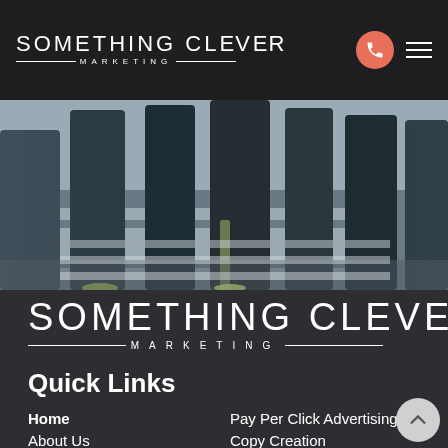SOMETHING CLEVER MARKETING
[Figure (photo): Crowd of pedestrians walking across a striped crosswalk, viewed from low angle, urban street, muted blue-grey tones]
[Figure (logo): Something Clever Marketing logo in large white lettering on dark background]
Quick Links
Home
About Us
Pay Per Click Advertising
Copy Creation